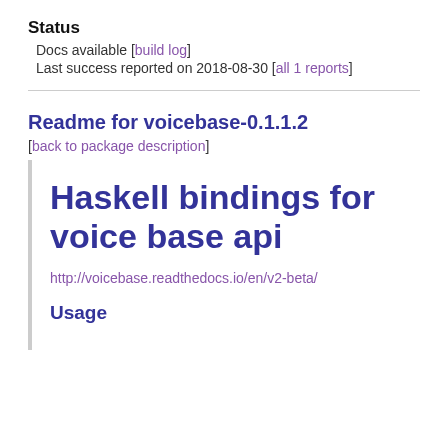Status
Docs available [build log]
Last success reported on 2018-08-30 [all 1 reports]
Readme for voicebase-0.1.1.2
[back to package description]
Haskell bindings for voice base api
http://voicebase.readthedocs.io/en/v2-beta/
Usage